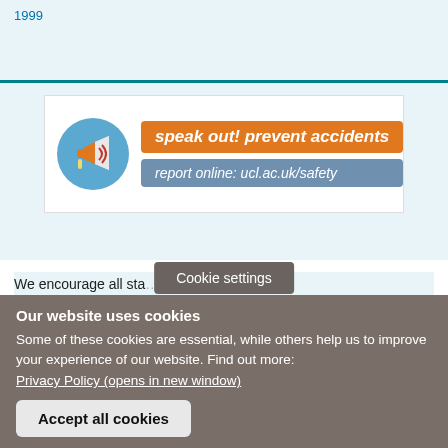1999
[Figure (infographic): Safety awareness banner with a megaphone icon in a blue circle, an orange banner reading 'speak out! prevent accidents', and a grey-blue banner reading 'report online: ucl.ac.uk/safety']
We encourage all sta... report accidents,
Cookie settings
Our website uses cookies
Some of these cookies are essential, while others help us to improve your experience of our website. Find out more:
Privacy Policy (opens in new window)
Accept all cookies
Manage cookies